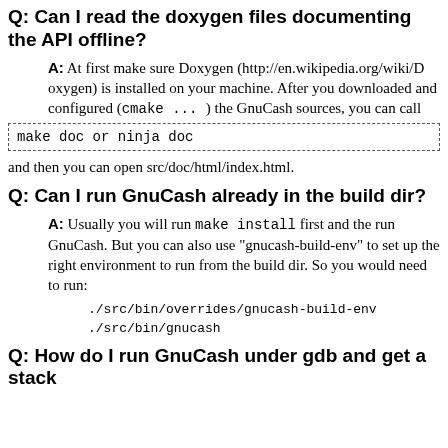Q: Can I read the doxygen files documenting the API offline?
A: At first make sure Doxygen (http://en.wikipedia.org/wiki/Doxygen) is installed on your machine. After you downloaded and configured (cmake ... ) the GnuCash sources, you can call
and then you can open src/doc/html/index.html.
Q: Can I run GnuCash already in the build dir?
A: Usually you will run make install first and the run GnuCash. But you can also use "gnucash-build-env" to set up the right environment to run from the build dir. So you would need to run:
./src/bin/overrides/gnucash-build-env
./src/bin/gnucash
Q: How do I run GnuCash under gdb and get a stack